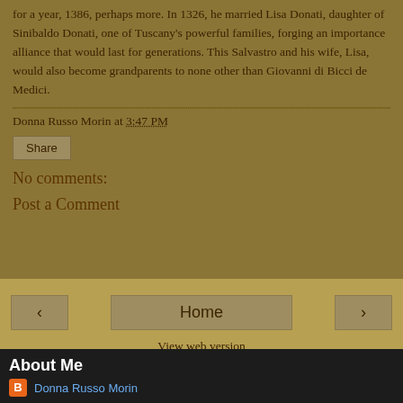for a year, 1386, perhaps more. In 1326, he married Lisa Donati, daughter of Sinibaldo Donati, one of Tuscany's powerful families, forging an importance alliance that would last for generations. This Salvastro and his wife, Lisa, would also become grandparents to none other than Giovanni di Bicci de Medici.
Donna Russo Morin at 3:47 PM
Share
No comments:
Post a Comment
‹
Home
›
View web version
About Me
Donna Russo Morin